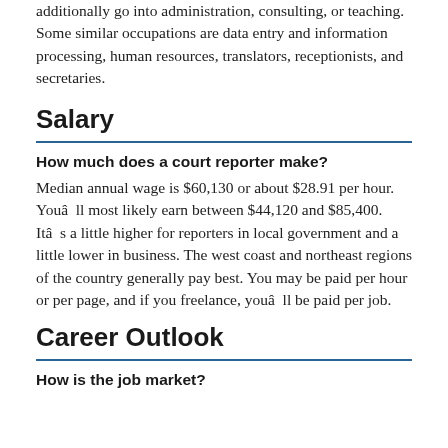additionally go into administration, consulting, or teaching. Some similar occupations are data entry and information processing, human resources, translators, receptionists, and secretaries.
Salary
How much does a court reporter make?
Median annual wage is $60,130 or about $28.91 per hour. Youâll most likely earn between $44,120 and $85,400. Itâs a little higher for reporters in local government and a little lower in business. The west coast and northeast regions of the country generally pay best. You may be paid per hour or per page, and if you freelance, youâll be paid per job.
Career Outlook
How is the job market?